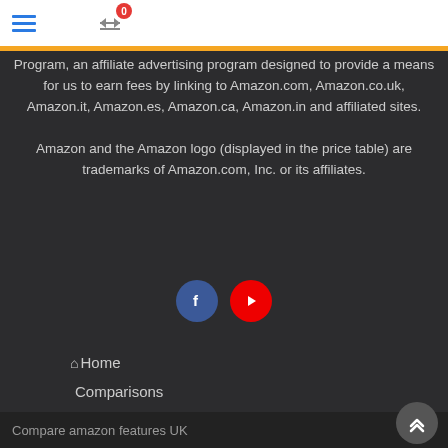☰ ⚖ 0
Program, an affiliate advertising program designed to provide a means for us to earn fees by linking to Amazon.com, Amazon.co.uk, Amazon.it, Amazon.es, Amazon.ca, Amazon.in and affiliated sites.
Amazon and the Amazon logo (displayed in the price table) are trademarks of Amazon.com, Inc. or its affiliates.
[Figure (illustration): Facebook and YouTube social media icon circles — blue circle with white 'f' and red circle with white play button]
🏠Home
Comparisons
Contacts
Privacy
Compare amazon features UK